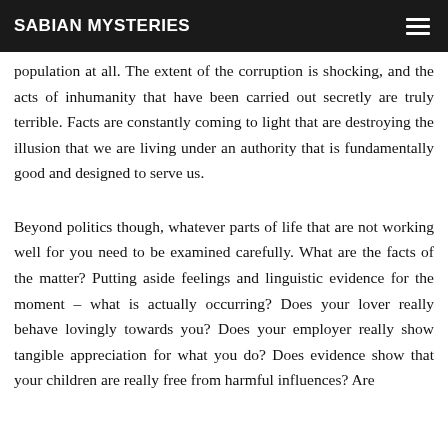SABIAN MYSTERIES
population at all. The extent of the corruption is shocking, and the acts of inhumanity that have been carried out secretly are truly terrible. Facts are constantly coming to light that are destroying the illusion that we are living under an authority that is fundamentally good and designed to serve us.
Beyond politics though, whatever parts of life that are not working well for you need to be examined carefully. What are the facts of the matter? Putting aside feelings and linguistic evidence for the moment – what is actually occurring? Does your lover really behave lovingly towards you? Does your employer really show tangible appreciation for what you do? Does evidence show that your children are really free from harmful influences? Are